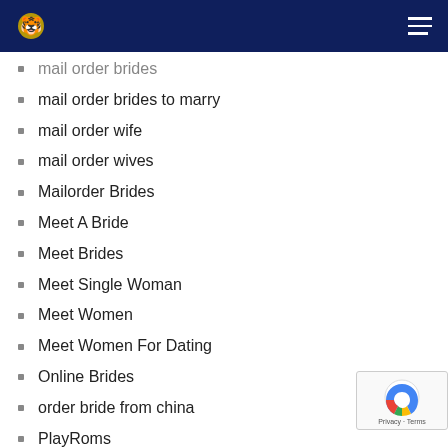Navigation bar with logo and hamburger menu
mail order brides
mail order brides to marry
mail order wife
mail order wives
Mailorder Brides
Meet A Bride
Meet Brides
Meet Single Woman
Meet Women
Meet Women For Dating
Online Brides
order bride from china
PlayRoms